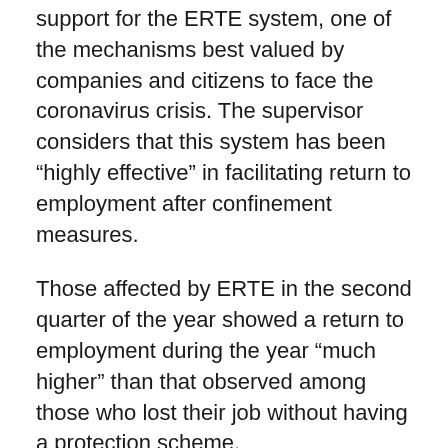support for the ERTE system, one of the mechanisms best valued by companies and citizens to face the coronavirus crisis. The supervisor considers that this system has been “highly effective” in facilitating return to employment after confinement measures.
Those affected by ERTE in the second quarter of the year showed a return to employment during the year “much higher” than that observed among those who lost their job without having a protection scheme.
Even so, the body recognizes that the difference between the two groups is “blurring” when it comes to longer ERTEs. The return to employment in the third quarter of those who entered an ERTE in the second was very high (almost 70%), and much higher than that observed among those not covered by an ERTE (40%). Of the rest of ERTE workers in the second quarter, 20% continued to be affected and 10% at into...